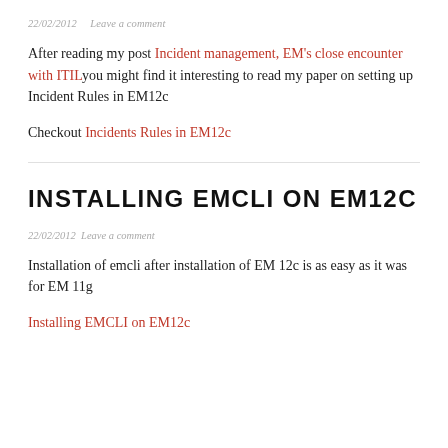22/02/2012   Leave a comment
After reading my post Incident management, EM’s close encounter with ITILyou might find it interesting to read my paper on setting up Incident Rules in EM12c
Checkout Incidents Rules in EM12c
INSTALLING EMCLI ON EM12C
22/02/2012   Leave a comment
Installation of emcli after installation of EM 12c is as easy as it was for EM 11g
Installing EMCLI on EM12c